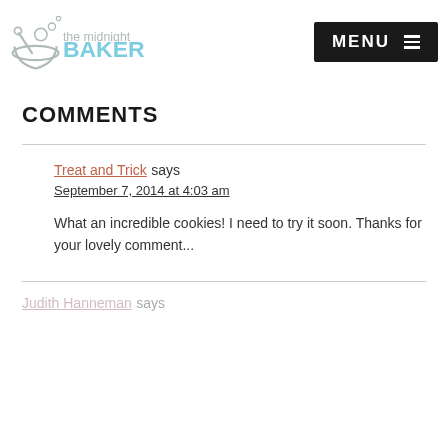the midnight BAKER | MENU
COMMENTS
Treat and Trick says
September 7, 2014 at 4:03 am
What an incredible cookies! I need to try it soon. Thanks for your lovely comment...
Judith Hanneman says